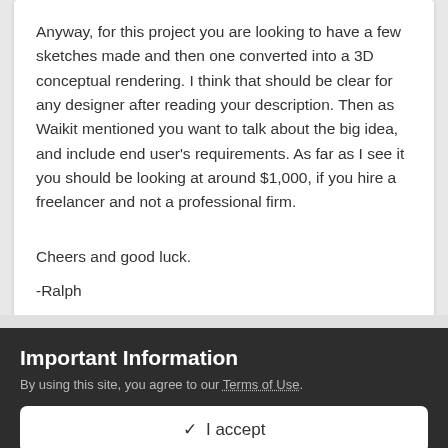Anyway, for this project you are looking to have a few sketches made and then one converted into a 3D conceptual rendering. I think that should be clear for any designer after reading your description. Then as Waikit mentioned you want to talk about the big idea, and include end user's requirements. As far as I see it you should be looking at around $1,000, if you hire a freelancer and not a professional firm.
Cheers and good luck.
-Ralph
Important Information
By using this site, you agree to our Terms of Use.
✓  I accept